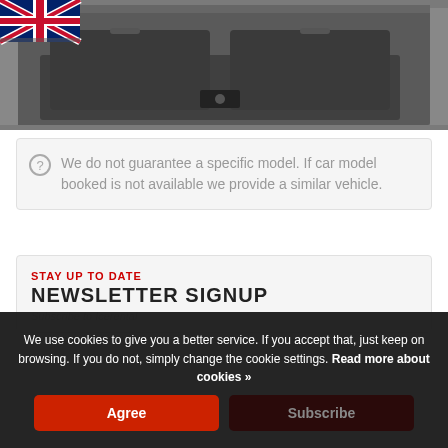[Figure (photo): Photo of a car trunk/boot interior, open, showing dark carpet lining. A Union Jack flag is visible in the top-left corner of the image.]
We do not guarantee a specific model. If car model booked is not available we provide a similar vehicle.
STAY UP TO DATE
NEWSLETTER SIGNUP
Subscribe to Icerental
We use cookies to give you a better service. If you accept that, just keep on browsing. If you do not, simply change the cookie settings. Read more about cookies »
Agree
Subscribe